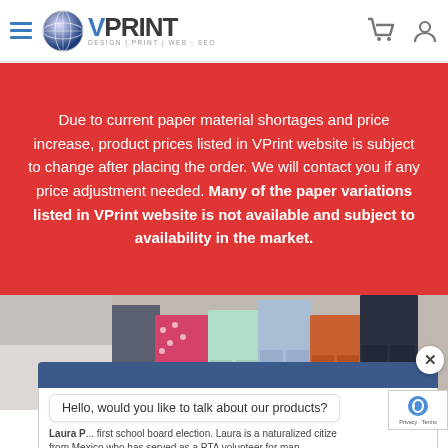[Figure (logo): VPrint logo with globe icon and tagline DESIGN | PRINT | WEB SEO, hamburger menu icon, shopping cart and user icons in header]
Due to current paper material shortages and price increase, product prices listed in VPrint website is subject to change after placing the order. We will contact you if any price adjustment needed. Many of the paper variations listed in VPrint website is not available and subject to availability in the market.
[Figure (photo): Photo strip showing lower bodies of multiple people in colorful clothing]
Hello, would you like to talk about our products?
Laura P... first school board election. Laura is a naturalized citize from Mexico who has served as a PTA volunteer for man years. S... bsine... owner...
Chat now